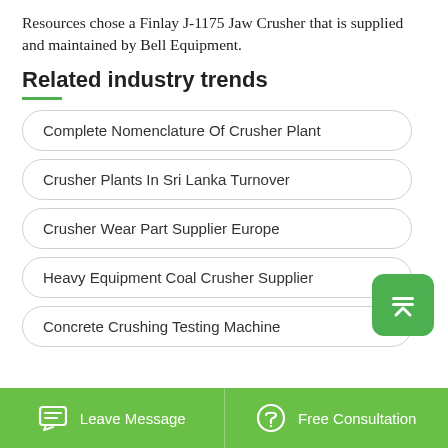Resources chose a Finlay J-1175 Jaw Crusher that is supplied and maintained by Bell Equipment.
Related industry trends
Complete Nomenclature Of Crusher Plant
Crusher Plants In Sri Lanka Turnover
Crusher Wear Part Supplier Europe
Heavy Equipment Coal Crusher Supplier
Concrete Crushing Testing Machine
Leave Message   Free Consultation